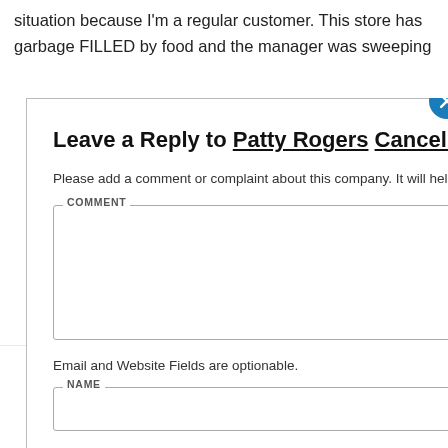situation because I'm a regular customer. This store has garbage FILLED by food and the manager was sweeping
Leave a Reply to Patty Rogers Cancel reply
Please add a comment or complaint about this company. It will help other users.
COMMENT
Email and Website Fields are optionable.
NAME
Joshua A Welshans
APRIL 22, 2022 AT 10:49 PM